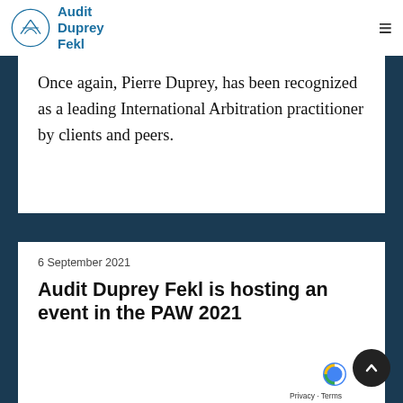Audit Duprey Fekl
Once again, Pierre Duprey, has been recognized as a leading International Arbitration practitioner by clients and peers.
6 September 2021
Audit Duprey Fekl is hosting an event in the PAW 2021